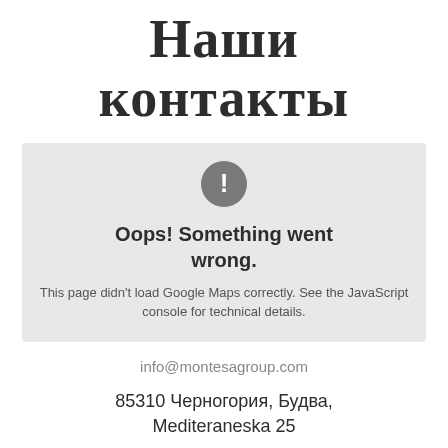Наши контакты
[Figure (screenshot): Google Maps error box with exclamation icon, bold text 'Oops! Something went wrong.' and message 'This page didn't load Google Maps correctly. See the JavaScript console for technical details.']
info@montesagroup.com
85310 Черногория, Будва, Mediteraneska 25